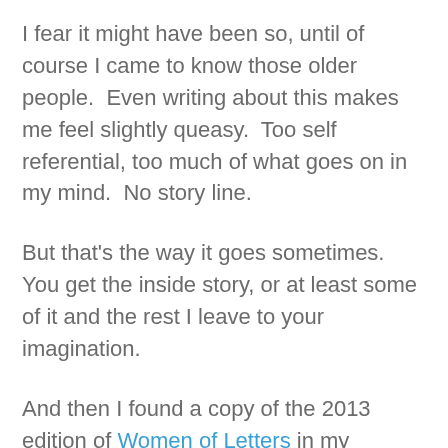I fear it might have been so, until of course I came to know those older people.  Even writing about this makes me feel slightly queasy.  Too self referential, too much of what goes on in my mind.  No story line.
But that's the way it goes sometimes.  You get the inside story, or at least some of it and the rest I leave to your imagination.
And then I found a copy of the 2013 edition of Women of Letters in my daughter's bookshelf and read Amanda Palmer's letter to someone called Anthony.  I imagine he was a friend.  Someone who was dying of cancer and in it Palmer talks about her almost adolescent need to offer people the